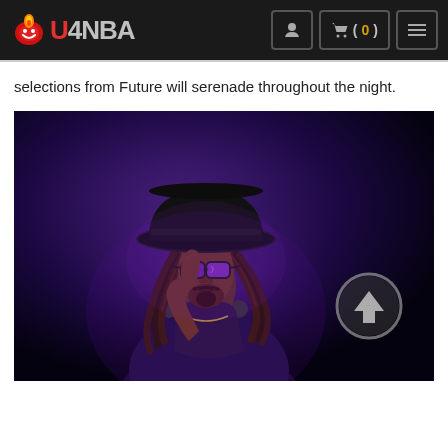U4NBA navigation header with logo and cart
selections from Future will serenade throughout the night.
[Figure (photo): A man wearing a wide-brim hat and reflective purple sunglasses with dreadlocks, pointing one finger up, wearing headphones around his neck against a dark purple atmospheric background. A circular up-arrow icon is visible on the right side.]